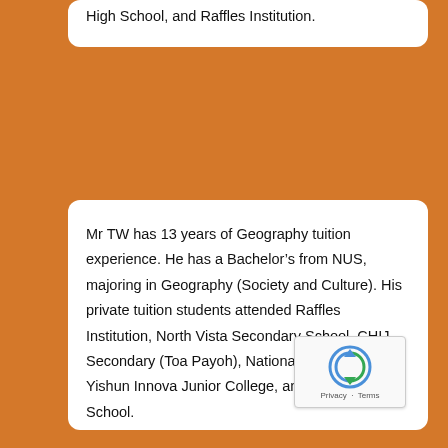High School, and Raffles Institution.
Mr TW has 13 years of Geography tuition experience. He has a Bachelor’s from NUS, majoring in Geography (Society and Culture). His private tuition students attended Raffles Institution, North Vista Secondary School, CHIJ Secondary (Toa Payoh), National Junior College, Yishun Innova Junior College, and Dunman High School.